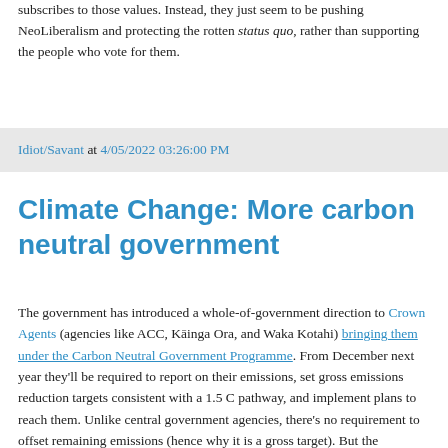subscribes to those values. Instead, they just seem to be pushing NeoLiberalism and protecting the rotten status quo, rather than supporting the people who vote for them.
Idiot/Savant at 4/05/2022 03:26:00 PM
Climate Change: More carbon neutral government
The government has introduced a whole-of-government direction to Crown Agents (agencies like ACC, Kāinga Ora, and Waka Kotahi) bringing them under the Carbon Neutral Government Programme. From December next year they'll be required to report on their emissions, set gross emissions reduction targets consistent with a 1.5 C pathway, and implement plans to reach them. Unlike central government agencies, there's no requirement to offset remaining emissions (hence why it is a gross target). But the requirement to include material scope 3 emissions will mean that Waka Kotahi will have to report on their emissions from